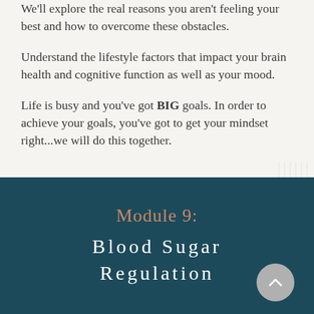We'll explore the real reasons you aren't feeling your best and how to overcome these obstacles.
Understand the lifestyle factors that impact your brain health and cognitive function as well as your mood.
Life is busy and you've got BIG goals. In order to achieve your goals, you've got to get your mindset right...we will do this together.
Module 9:
Blood Sugar Regulation